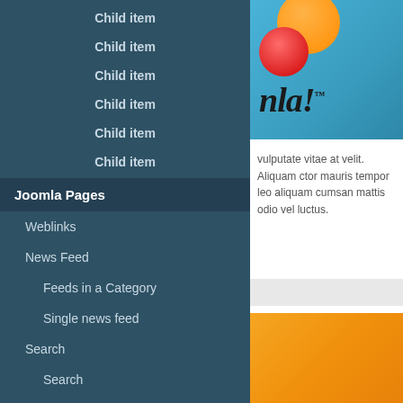Child item
Child item
Child item
Child item
Child item
Child item
Joomla Pages
Weblinks
News Feed
Feeds in a Category
Single news feed
Search
Search
Smart Search
[Figure (logo): Joomla! logo on blue background with orange and red decorative circles]
vulputate vitae at velit. Aliquam ctor mauris tempor leo aliquam cumsan mattis odio vel luctus.
[Figure (photo): Orange gradient image block]